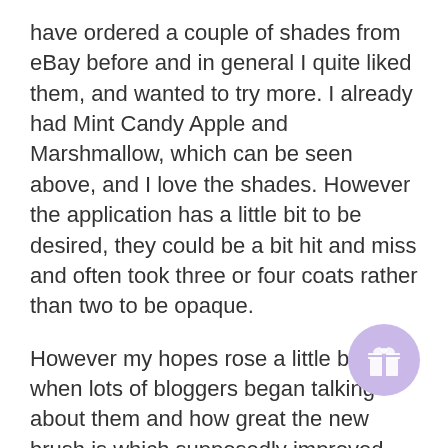have ordered a couple of shades from eBay before and in general I quite liked them, and wanted to try more. I already had Mint Candy Apple and Marshmallow, which can be seen above, and I love the shades. However the application has a little bit to be desired, they could be a bit hit and miss and often took three or four coats rather than two to be opaque.
However my hopes rose a little bit when lots of bloggers began talking about them and how great the new brush is which supposedly improved application no end, great I thought, problem solved! But when I saw that brush, my heart began to thud with dispair. It looked exactly the same as the Hansen Complete Salon Manicure nail polish brushes, which I am not a fan of!